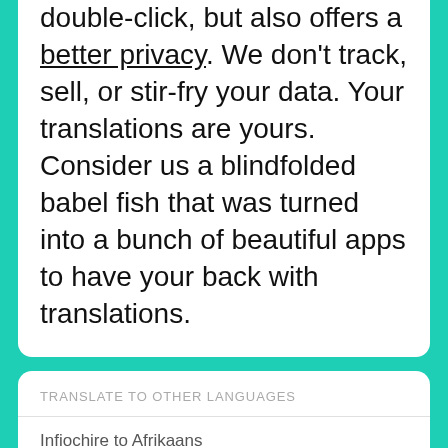double-click, but also offers a better privacy. We don't track, sell, or stir-fry your data. Your translations are yours. Consider us a blindfolded babel fish that was turned into a bunch of beautiful apps to have your back with translations.
TRANSLATE TO OTHER LANGUAGES
Infiochire to Afrikaans
Infiochire to Albanian
Infiochire to Amharic
Infiochire to Arabic